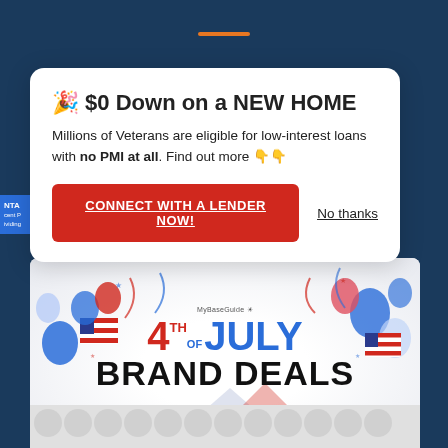[Figure (screenshot): Dark blue background with centered orange horizontal bar at top]
🎉 $0 Down on a NEW HOME
Millions of Veterans are eligible for low-interest loans with no PMI at all. Find out more 👇👇
CONNECT WITH A LENDER NOW!
No thanks
[Figure (illustration): 4th of July Brand Deals banner with patriotic balloons, American flags, red/white/blue star balloons, confetti streamers, and text: 4TH OF JULY BRAND DEALS with MyBaseGuide logo]
[Figure (other): Gray circle/dots pattern at bottom]